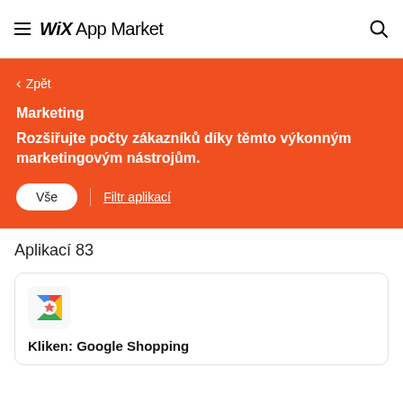WiX App Market
< Zpět
Marketing
Rozšiřujte počty zákazníků díky těmto výkonným marketingovým nástrojům.
Vše  |  Filtr aplikací
Aplikací 83
Kliken: Google Shopping